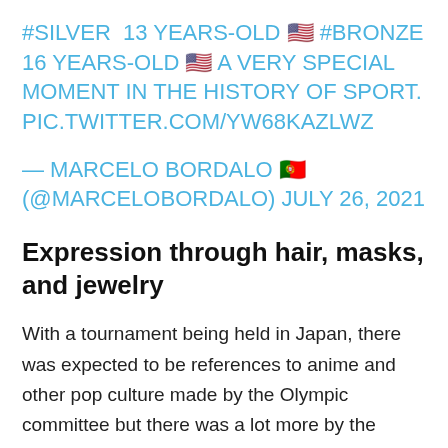#SILVER  13 YEARS-OLD 🇺🇸 #BRONZE 16 YEARS-OLD 🇺🇸 A VERY SPECIAL MOMENT IN THE HISTORY OF SPORT. PIC.TWITTER.COM/YW68KAZLWZ
— MARCELO BORDALO 🇵🇹 (@MARCELOBORDALO) JULY 26, 2021
Expression through hair, masks, and jewelry
With a tournament being held in Japan, there was expected to be references to anime and other pop culture made by the Olympic committee but there was a lot more by the athletes.
We saw it all from a swimmer not being allowed to wear his favourite cat inspired mask while on the podium to a Russian...